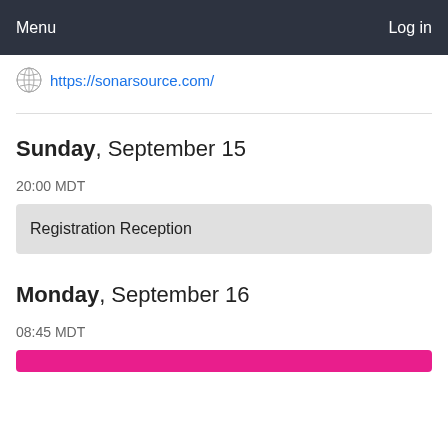Menu    Log in
https://sonarsource.com/
Sunday, September 15
20:00 MDT
Registration Reception
Monday, September 16
08:45 MDT